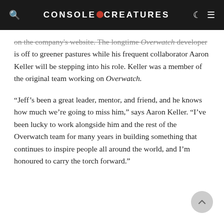CONSOLE CREATURES
on the company's website. The longtime Overwatch developer is off to greener pastures while his frequent collaborator Aaron Keller will be stepping into his role. Keller was a member of the original team working on Overwatch.
"Jeff's been a great leader, mentor, and friend, and he knows how much we're going to miss him," says Aaron Keller. "I've been lucky to work alongside him and the rest of the Overwatch team for many years in building something that continues to inspire people all around the world, and I'm honoured to carry the torch forward."